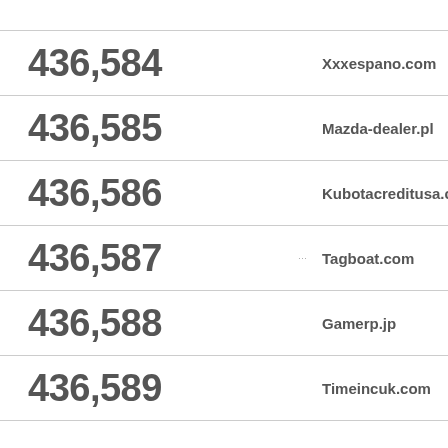| Rank |  | Domain |
| --- | --- | --- |
| 436,584 |  | Xxxespano.com |
| 436,585 |  | Mazda-dealer.pl |
| 436,586 |  | Kubotacreditusa.com |
| 436,587 | ··· | Tagboat.com |
| 436,588 |  | Gamerp.jp |
| 436,589 |  | Timeincuk.com |